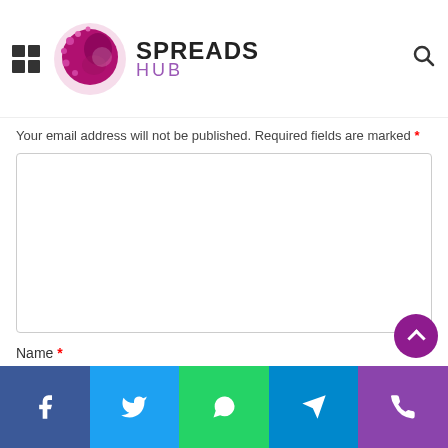SPREADS HUB
Leave a Reply
Your email address will not be published. Required fields are marked *
Name *
Email *